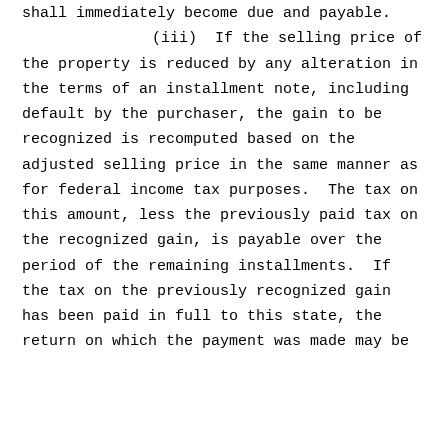shall immediately become due and payable. (iii) If the selling price of the property is reduced by any alteration in the terms of an installment note, including default by the purchaser, the gain to be recognized is recomputed based on the adjusted selling price in the same manner as for federal income tax purposes. The tax on this amount, less the previously paid tax on the recognized gain, is payable over the period of the remaining installments. If the tax on the previously recognized gain has been paid in full to this state, the return on which the payment was made may be